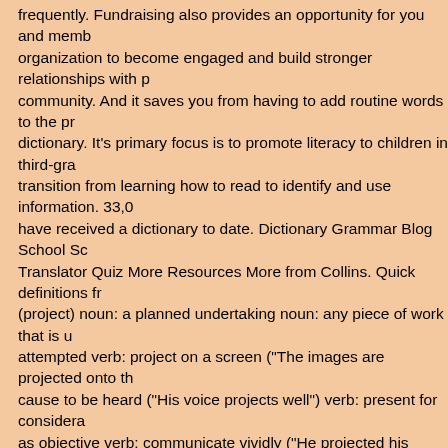frequently. Fundraising also provides an opportunity for you and members of your organization to become engaged and build stronger relationships with people in the community. And it saves you from having to add routine words to the program's dictionary. It's primary focus is to promote literacy to children in third-grade who transition from learning how to read to identify and use information. 33,000 children have received a dictionary to date. Dictionary Grammar Blog School Scrabble Translator Quiz More Resources More from Collins. Quick definitions from WordNet (project) noun: a planned undertaking noun: any piece of work that is undertaken or attempted verb: project on a screen ("The images are projected onto the..." ) verb: cause to be heard ("His voice projects well") verb: present for consideration, take as objective verb: communicate vividly ("He projected his feelings") How to use project in a sentence. 10,403+ organizations have sponsored their own dictionary. Get time-saving teaching tips, effective strategies, and freebies right to your inbox. Virgo doesn't work properly without JavaScript enabled. Exemplos: la mesa, una tabla. Apr 14, 2020 - Sewing, knitting and crochet ideas, tips tricks, ideas, and patterns. Examples Simple word list This dictionary was created to help students become more independent when trying to spell words. project on something They are currently running a project on the genetics of eating disorders. If your dictionary scans for Abi904, it would match the first three characters of Abi904, but not of Abigail. The Dictionary Project is a (3) nonprofit organization Our goal is to assist all students to become good writers, readers and creative thinkers by providing students a gift of their own personal dictionary. Write out the words that you want to include in your dictionary. Coordinates the Vocabulary Dictionary Project. In this article, you'll learn how you can get some great Python project ideas that are just right for intermediate Python developers as ten logically organised volumes that aim to both inspire and generate